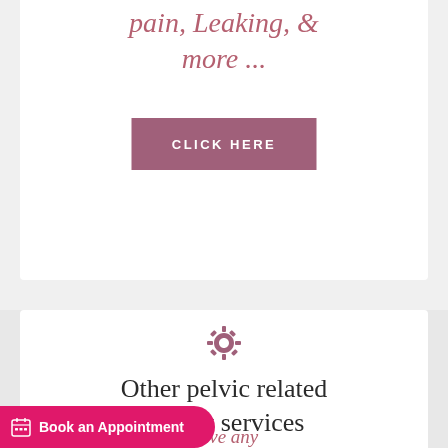pain, Leaking, & more ...
CLICK HERE
Other pelvic related patient services
If you have any pelvic related issues than the
Book an Appointment